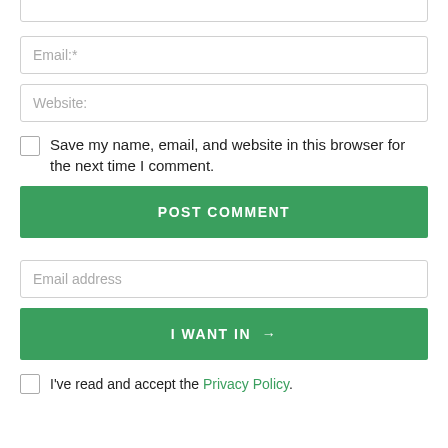[Figure (screenshot): Name input field (partially visible at top, cropped)]
[Figure (screenshot): Email input field with placeholder text 'Email:*']
[Figure (screenshot): Website input field with placeholder text 'Website:']
Save my name, email, and website in this browser for the next time I comment.
[Figure (screenshot): Green POST COMMENT button]
[Figure (screenshot): Email address input field with placeholder text 'Email address']
[Figure (screenshot): Green I WANT IN → button]
I've read and accept the Privacy Policy.